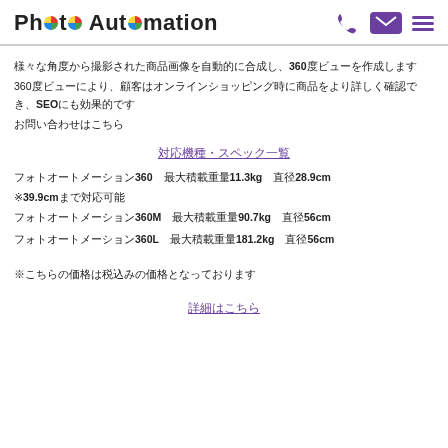Photo Automation
様々な角度から撮影された商品画像を自動的に合成し、360度ビューを作成します
360度ビューにより、顧客はオンラインショッピング時に商品をより詳しく確認でき、SEOにも効果的です
お問い合わせはこちら
対応機種・スペック一覧
フォトオートメーション360 最大積載重量11.3kg 直径28.9cm
※39.9cmまで対応可能
フォトオートメーション360M 最大積載重量90.7kg 直径56cm
フォトオートメーション360L 最大積載重量181.2kg 直径56cm
※こちらの価格は税込みの価格となっております
詳細はこちら